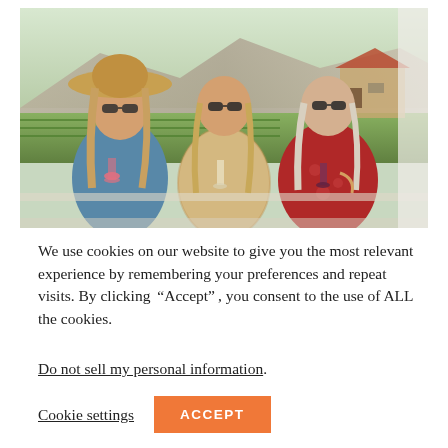[Figure (photo): Three women smiling and posing together outdoors on a patio or deck at a winery, each holding a wine glass or cocktail. Background shows green vineyard rows, mountains, and a building. The woman on the left wears a wide-brim hat and blue top, the middle woman wears a floral dress, and the right woman wears a red floral blouse.]
We use cookies on our website to give you the most relevant experience by remembering your preferences and repeat visits. By clicking “Accept”, you consent to the use of ALL the cookies.
Do not sell my personal information.
Cookie settings
ACCEPT